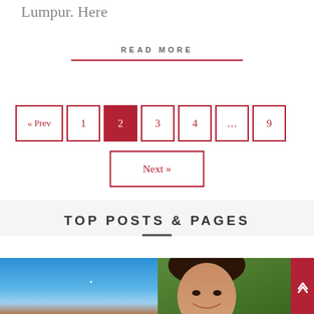Lumpur. Here
READ MORE
« Prev  1  2  3  4  ...  9  Next »
TOP POSTS & PAGES
[Figure (photo): Blue sky photo on the left, smiling woman photo on the right]
Scroll to top button with up arrow